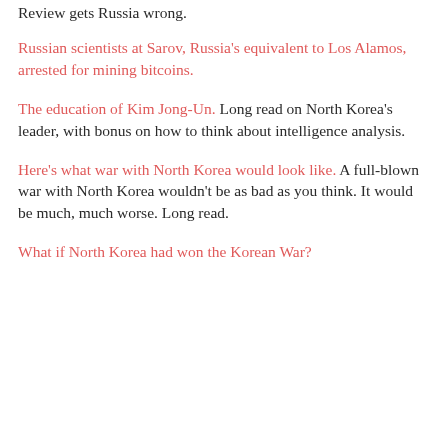Review gets Russia wrong.
Russian scientists at Sarov, Russia's equivalent to Los Alamos, arrested for mining bitcoins.
The education of Kim Jong-Un. Long read on North Korea's leader, with bonus on how to think about intelligence analysis.
Here's what war with North Korea would look like. A full-blown war with North Korea wouldn't be as bad as you think. It would be much, much worse. Long read.
What if North Korea had won the Korean War?